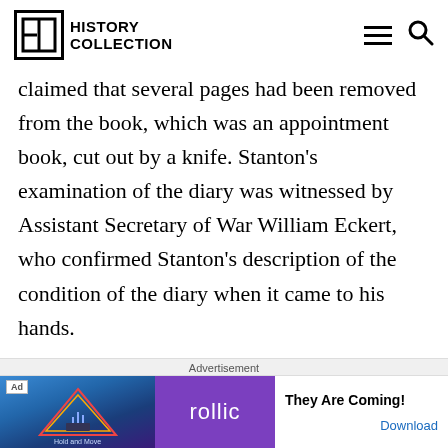HISTORY COLLECTION
claimed that several pages had been removed from the book, which was an appointment book, cut out by a knife. Stanton's examination of the diary was witnessed by Assistant Secretary of War William Eckert, who confirmed Stanton's description of the condition of the diary when it came to his hands.

The missing pages from the diary gave rise to
Advertisement
[Figure (screenshot): Advertisement banner showing a Rollic game ad with text 'They Are Coming!' and a Download button]